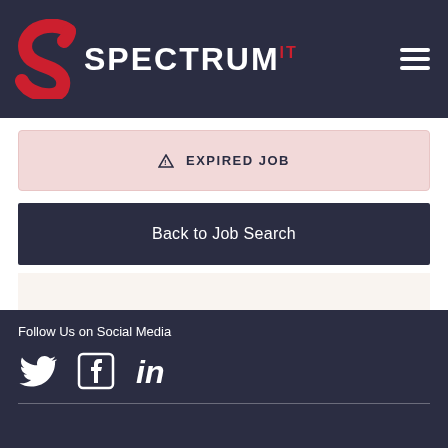[Figure (logo): Spectrum IT logo with red S icon and white SPECTRUM text with red IT superscript, on dark navy background]
EXPIRED JOB
Back to Job Search
Follow Us on Social Media
[Figure (illustration): Social media icons: Twitter bird, Facebook F, LinkedIn in — white on dark navy background]